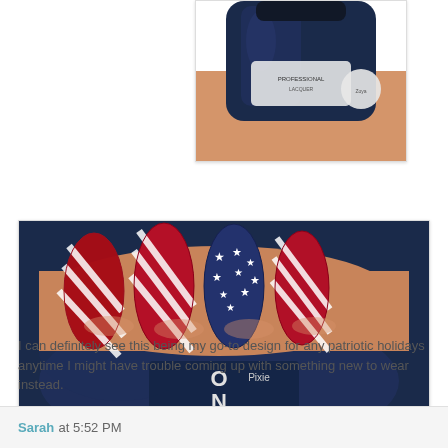[Figure (photo): Close-up of a hand holding a dark navy blue nail polish bottle, partially cropped at the top of the page]
[Figure (photo): Close-up of a hand with patriotic American flag nail art — red glitter with white stripes and blue with white stars pattern — holding a dark navy blue Zoya Pixie Dust nail polish bottle]
I can definitely see this being my go-to design for any patriotic holidays anytime I might have trouble coming up with something new to wear instead.
Sarah at 5:52 PM